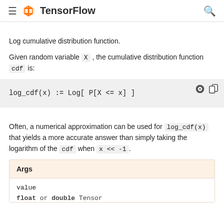TensorFlow
Log cumulative distribution function.
Given random variable X , the cumulative distribution function cdf is:
Often, a numerical approximation can be used for log_cdf(x) that yields a more accurate answer than simply taking the logarithm of the cdf when x << -1.
Args
value
float or double Tensor.